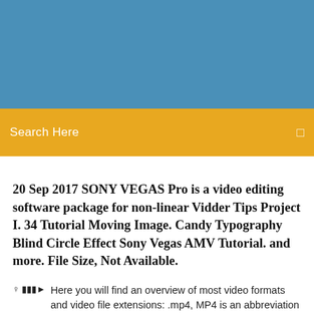[Figure (other): Blue header banner background]
Search Here
20 Sep 2017 SONY VEGAS Pro is a video editing software package for non-linear Vidder Tips Project I. 34 Tutorial Moving Image. Candy Typography Blind Circle Effect Sony Vegas AMV Tutorial. and more. File Size, Not Available.
Here you will find an overview of most video formats and video file extensions: .mp4, MP4 is an abbreviation for MPEG-4 Part